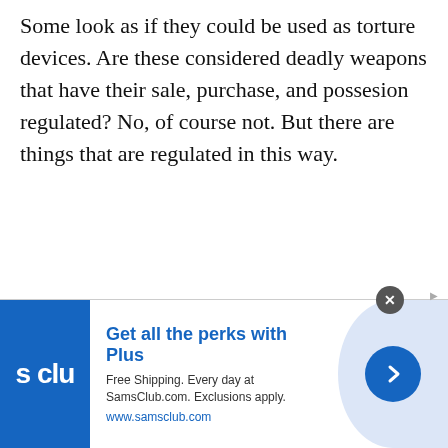Some look as if they could be used as torture devices. Are these considered deadly weapons that have their sale, purchase, and possesion regulated? No, of course not. But there are things that are regulated in this way.
[Figure (other): Advertisement banner for Sam's Club showing logo, 'Get all the perks with Plus' headline, free shipping offer text, www.samsclub.com URL, and a circular arrow button on a light blue background. Close button (X) at top right.]